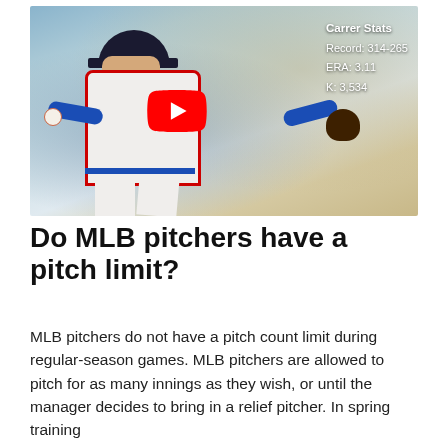[Figure (photo): A baseball pitcher in mid-throw wearing a white jersey with blue and red trim, with a YouTube play button overlay in the center. Career stats are shown in the top-right corner: 'Carrer Stats', 'Record: 314-265', 'ERA: 3.11', '[K]: 3,534'. The background shows a blurred crowd.]
Do MLB pitchers have a pitch limit?
MLB pitchers do not have a pitch count limit during regular-season games. MLB pitchers are allowed to pitch for as many innings as they wish, or until the manager decides to bring in a relief pitcher. In spring training